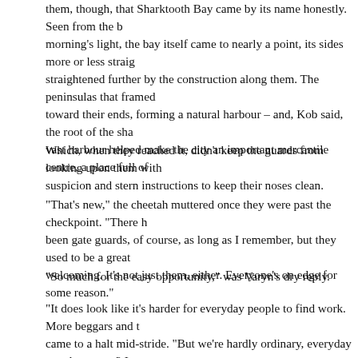them, though, that Sharktooth Bay came by its name honestly. Seen from the bay in morning's light, the bay itself came to nearly a point, its sides more or less straight, straightened further by the construction along them. The peninsulas that framed it curved toward their ends, forming a natural harbour – and, Kob said, the root of the shark's vast harbour helped make the city an important mercantile centre, a place full of
Which, when they reached it, didn't keep the guards from looking upon them with suspicion and stern instructions to keep their noses clean.
“That's new,” the cheetah muttered once they were past the checkpoint. “There h been gate guards, of course, as long as I remember, but they used to be a great welcoming. It's not just them, either. Everyone's on edge for some reason.”
“So much for the easy opportunity,” was Varyn’s dry reply.
“It does look like it’s harder for everyday people to find work. More beggars and t came to a halt mid-stride. “But we’re hardly ordinary, everyday people, are we? I is happening, I imagine there’s that much more call for adventurers among the p actually know what’s up.”
“First off, we don’t know who that is,” Varyn pointed out. “That can be remedied, careful, Kob – we may be a bit tougher than the common citizen, but we’re not h yet, and there are only three of us.”
“Better to enquire and then decide it’s too big for us,” the cat mused, “than to not
Reaching up to scratch Drevin’s ears where the tabby was perched on his shoul said, “Kob has a point. We should at least try to learn what’s going on.”